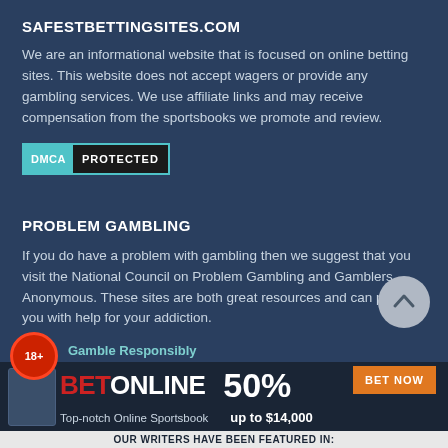SAFESTBETTINGSITES.COM
We are an informational website that is focused on online betting sites. This website does not accept wagers or provide any gambling services. We use affiliate links and may receive compensation from the sportsbooks we promote and review.
[Figure (logo): DMCA PROTECTED badge - teal DMCA box next to black PROTECTED box]
PROBLEM GAMBLING
If you do have a problem with gambling then we suggest that you visit the National Council on Problem Gambling and Gamblers Anonymous. These sites are both great resources and can provide you with help for your addiction.
[Figure (other): Scroll-to-top button - grey circular arrow up button]
[Figure (infographic): BetOnline advertisement banner - 18+ Gamble Responsibly, BETONLINE logo, 50% up to $14,000, BET NOW button, Top-notch Online Sportsbook, OUR WRITERS HAVE BEEN FEATURED IN:]